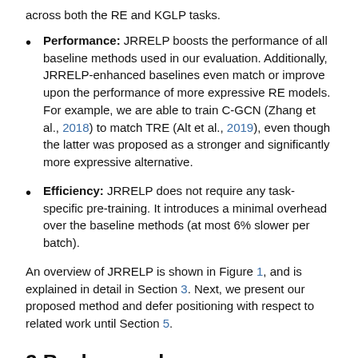across both the RE and KGLP tasks.
Performance: JRRELP boosts the performance of all baseline methods used in our evaluation. Additionally, JRRELP-enhanced baselines even match or improve upon the performance of more expressive RE models. For example, we are able to train C-GCN (Zhang et al., 2018) to match TRE (Alt et al., 2019), even though the latter was proposed as a stronger and significantly more expressive alternative.
Efficiency: JRRELP does not require any task-specific pre-training. It introduces a minimal overhead over the baseline methods (at most 6% slower per batch).
An overview of JRRELP is shown in Figure 1, and is explained in detail in Section 3. Next, we present our proposed method and defer positioning with respect to related work until Section 5.
2 Background